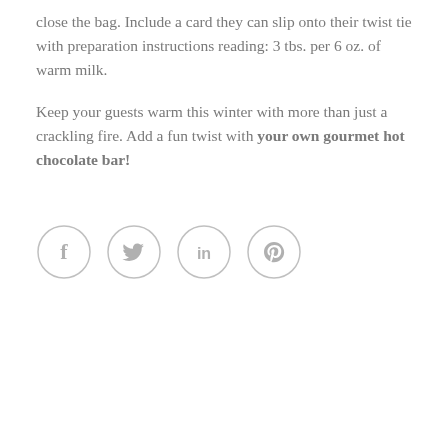close the bag. Include a card they can slip onto their twist tie with preparation instructions reading: 3 tbs. per 6 oz. of warm milk.

Keep your guests warm this winter with more than just a crackling fire. Add a fun twist with your own gourmet hot chocolate bar!
[Figure (other): Four circular social media icons in a row: Facebook (f), Twitter (bird), LinkedIn (in), Pinterest (p). All styled with a light gray outline circle and gray icon.]